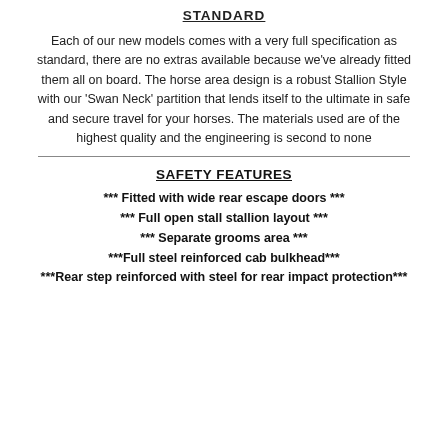STANDARD
Each of our new models comes with a very full specification as standard, there are no extras available because we've already fitted them all on board. The horse area design is a robust Stallion Style with our 'Swan Neck' partition that lends itself to the ultimate in safe and secure travel for your horses. The materials used are of the highest quality and the engineering is second to none
SAFETY FEATURES
*** Fitted with wide rear escape doors ***
*** Full open stall stallion layout ***
*** Separate grooms area ***
***Full steel reinforced cab bulkhead***
***Rear step reinforced with steel for rear impact protection***